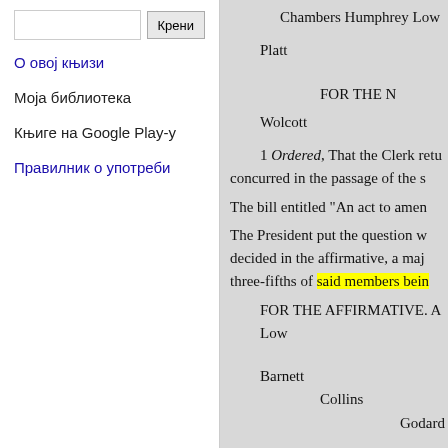Крени (search button)
О овој књизи
Моја библиотека
Књиге на Google Play-у
Правилник о употреби
Chambers Humphrey Low
Platt
FOR THE N
Wolcott
1 Ordered, That the Clerk retu concurred in the passage of the s
The bill entitled "An act to amen
The President put the question w decided in the affirmative, a maj three-fifths of said members bein
FOR THE AFFIRMATIVE. A
Low
Barnett
Collins
Godard